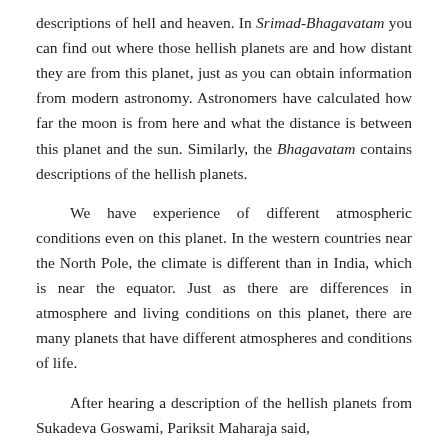descriptions of hell and heaven. In Srimad-Bhagavatam you can find out where those hellish planets are and how distant they are from this planet, just as you can obtain information from modern astronomy. Astronomers have calculated how far the moon is from here and what the distance is between this planet and the sun. Similarly, the Bhagavatam contains descriptions of the hellish planets.
We have experience of different atmospheric conditions even on this planet. In the western countries near the North Pole, the climate is different than in India, which is near the equator. Just as there are differences in atmosphere and living conditions on this planet, there are many planets that have different atmospheres and conditions of life.
After hearing a description of the hellish planets from Sukadeva Goswami, Pariksit Maharaja said,
adhuneha maha-bhaga
yathaiva narakan narah